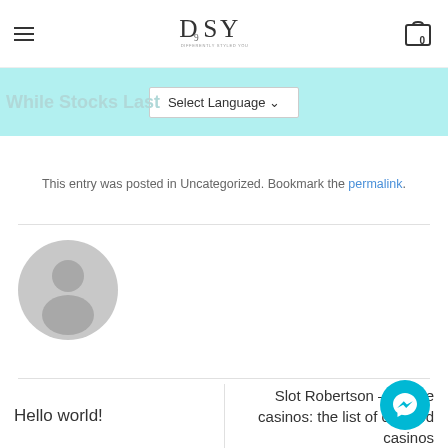DSY – Differently Styled You
While Stocks Last
Select Language
This entry was posted in Uncategorized. Bookmark the permalink.
[Figure (illustration): Grey circular user avatar placeholder]
Hello world!
Slot Robertson – Online casinos: the list of certified casinos